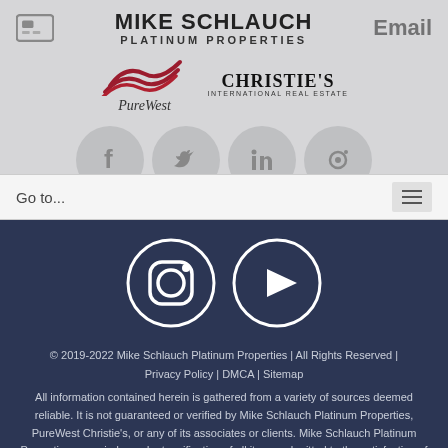[Figure (logo): Mike Schlauch Platinum Properties logo with card icon, brand name, PureWest and Christie's International Real Estate logos]
[Figure (screenshot): Social media icon circles (Facebook, Twitter, LinkedIn, other) partially visible in gray]
Go to...
[Figure (logo): Instagram icon circle and YouTube play button circle on dark navy background]
© 2019-2022 Mike Schlauch Platinum Properties | All Rights Reserved | Privacy Policy | DMCA | Sitemap
All information contained herein is gathered from a variety of sources deemed reliable. It is not guaranteed or verified by Mike Schlauch Platinum Properties, PureWest Christie's, or any of its associates or clients. Mike Schlauch Platinum Properties urges independent verification of all items submitted to the satisfaction of any prospective